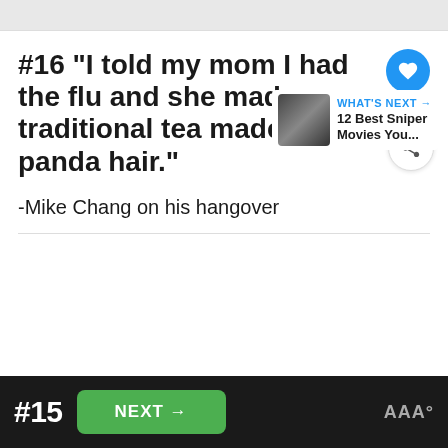[Figure (screenshot): Gray top bar area from previous page content]
#16 “I told my mom I had the flu and she made me a traditional tea made out of panda hair.”
-Mike Chang on his hangover
WHAT'S NEXT → 12 Best Sniper Movies You...
#15
NEXT →
1